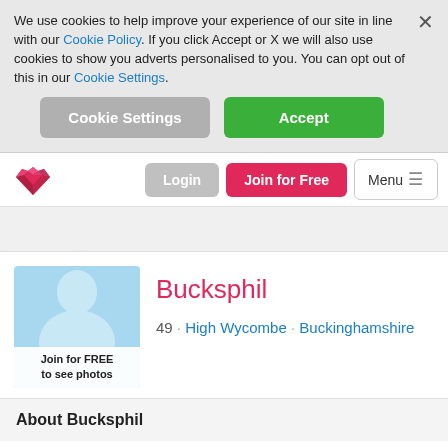We use cookies to help improve your experience of our site in line with our Cookie Policy. If you click Accept or X we will also use cookies to show you adverts personalised to you. You can opt out of this in our Cookie Settings.
Cookie Settings
Accept
[Figure (logo): Dating site heart logo in red/pink geometric faceted style]
Login
Join for Free
Menu ≡
[Figure (photo): Profile photo placeholder: light blue background with white silhouette bust, caption 'Join for FREE to see photos']
Bucksphil
49 · High Wycombe · Buckinghamshire
About Bucksphil